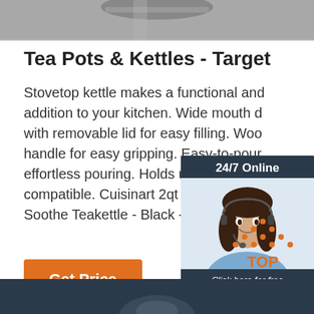[Figure (photo): Grayscale photo of a kettle or kitchen item at the top of the page]
Tea Pots & Kettles - Target
Stovetop kettle makes a functional and addition to your kitchen. Wide mouth d with removable lid for easy filling. Woo handle for easy gripping. Easy-to-pour effortless pouring. Holds up to 5qt. No compatible. Cuisinart 2qt Stovetop Ste Soothe Teakettle - Black - ...
[Figure (photo): Customer service chat widget with a woman wearing a headset, 24/7 Online label, Click here for free chat text, and QUOTATION button]
[Figure (other): TOP logo with orange dots arranged in triangle and orange text TOP]
[Figure (photo): Dark navy blue banner at bottom of page with partial image of kettle]
Get Price